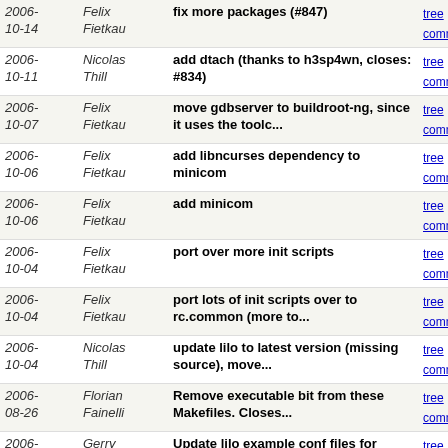| Date | Author | Message | Links |
| --- | --- | --- | --- |
| 2006-10-14 | Felix Fietkau | fix more packages (#847) | tree | commitdiff |
| 2006-10-11 | Nicolas Thill | add dtach (thanks to h3sp4wn, closes: #834) | tree | commitdiff |
| 2006-10-07 | Felix Fietkau | move gdbserver to buildroot-ng, since it uses the toolc... | tree | commitdiff |
| 2006-10-06 | Felix Fietkau | add libncurses dependency to minicom | tree | commitdiff |
| 2006-10-06 | Felix Fietkau | add minicom | tree | commitdiff |
| 2006-10-04 | Felix Fietkau | port over more init scripts | tree | commitdiff |
| 2006-10-04 | Felix Fietkau | port lots of init scripts over to rc.common (more to... | tree | commitdiff |
| 2006-10-04 | Nicolas Thill | update lilo to latest version (missing source), move... | tree | commitdiff |
| 2006-08-26 | Florian Fainelli | Remove executable bit from these Makefiles. Closes... | tree | commitdiff |
| 2006-08-26 | Gerry Rozema | Update lilo example conf files for devfs fixes | tree | commitdiff |
| 2006-08-23 | Felix Fietkau | cleanup | tree | commitdiff |
| 2006-08-20 | Felix Fietkau | patch Makefile.in instead of Makefile.am | tree | commitdiff |
| 2006-08-20 | Felix Fietkau | fix lrzsz install error | tree | commitdiff |